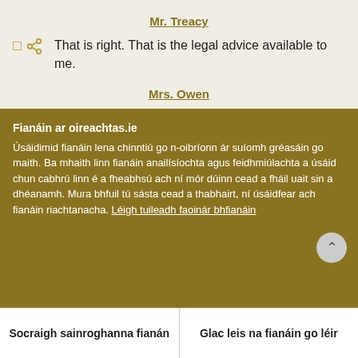Mr. Treacy
That is right. That is the legal advice available to me.
Mrs. Owen
Fianáin ar oireachtas.ie
Úsáidimid fianáin lena chinntiú go n-oibríonn ár suíomh gréasáin go maith. Ba mhaith linn fianáin anailísíochta agus feidhmiúlachta a úsáid chun cabhrú linn é a fheabhsú ach ní mór dúinn cead a fháil uait sin a dhéanamh. Mura bhfuil tú sásta cead a thabhairt, ní úsáidfear ach fianáin riachtanacha. Léigh tuileadh faoinár bhfianáin
Socraigh sainroghanna fianán
Glac leis na fianáin go léir